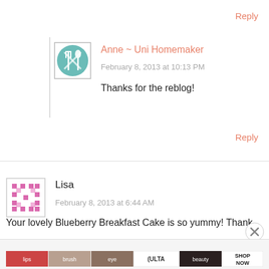Reply
[Figure (illustration): Avatar for Anne ~ Uni Homemaker: teal circle with crossed fork and spoon icon inside a square border]
Anne ~ Uni Homemaker
February 8, 2013 at 10:13 PM
Thanks for the reblog!
Reply
[Figure (illustration): Avatar for Lisa: pink/white geometric cross-stitch style square pattern]
Lisa
February 8, 2013 at 6:44 AM
Your lovely Blueberry Breakfast Cake is so yummy! Thank
Advertisements
[Figure (screenshot): Ulta Beauty advertisement banner with makeup/beauty product images and SHOP NOW call to action]